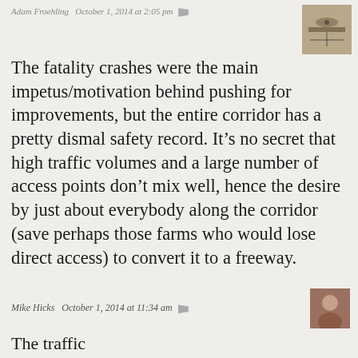Adam Froehling · October 1, 2014 at 2:05 pm
The fatality crashes were the main impetus/motivation behind pushing for improvements, but the entire corridor has a pretty dismal safety record. It's no secret that high traffic volumes and a large number of access points don't mix well, hence the desire by just about everybody along the corridor (save perhaps those farms who would lose direct access) to convert it to a freeway.
Mike Hicks · October 1, 2014 at 11:34 am
The traffic...